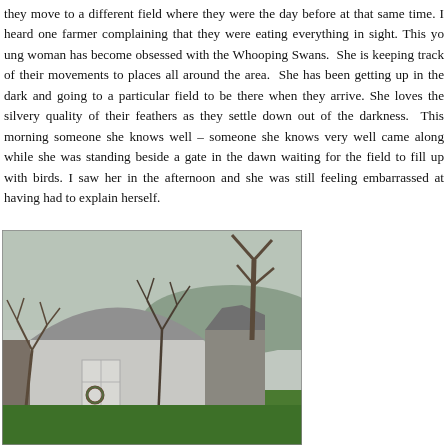they move to a different field where they were the day before at that same time. I heard one farmer complaining that they were eating everything in sight. This young woman has become obsessed with the Whooping Swans. She is keeping track of their movements to places all around the area. She has been getting up in the dark and going to a particular field to be there when they arrive. She loves the silvery quality of their feathers as they settle down out of the darkness. This morning someone she knows well – someone she knows very well came along while she was standing beside a gate in the dawn waiting for the field to fill up with birds. I saw her in the afternoon and she was still feeling embarrassed at having had to explain herself.
[Figure (photo): A photograph of a round-roofed white shed or outbuilding with a door and a small wreath, surrounded by bare winter trees and green grass, with hills in the background.]